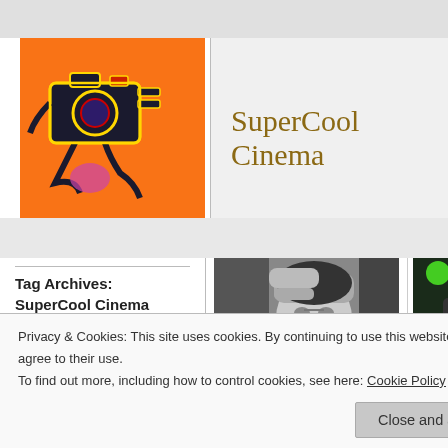[Figure (logo): SuperCool Cinema logo: orange/red camera illustration with stylized figure on orange background]
SuperCool Cinema
Tag Archives: SuperCool Cinema
More Than Just Film
[Figure (photo): Black and white photo of a man holding his head with both hands, looking distressed]
The Early Works of David Cronenberg (part
[Figure (photo): Partial movie poster, partially cut off on right edge]
Dyer ... (2009
Privacy & Cookies: This site uses cookies. By continuing to use this website, you agree to their use.
To find out more, including how to control cookies, see here: Cookie Policy
Close and accept